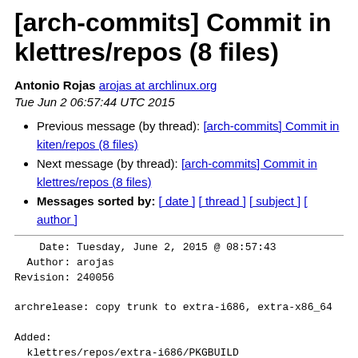[arch-commits] Commit in klettres/repos (8 files)
Antonio Rojas arojas at archlinux.org
Tue Jun 2 06:57:44 UTC 2015
Previous message (by thread): [arch-commits] Commit in kiten/repos (8 files)
Next message (by thread): [arch-commits] Commit in klettres/repos (8 files)
Messages sorted by: [ date ] [ thread ] [ subject ] [ author ]
Date: Tuesday, June 2, 2015 @ 08:57:43
  Author: arojas
Revision: 240056

archrelease: copy trunk to extra-i686, extra-x86_64

Added:
  klettres/repos/extra-i686/PKGBUILD
    (from rev 240055, klettres/trunk/PKGBUILD)
  klettres/repos/extra-i686/klettres.install
    (from rev 240055, klettres/trunk/klettres.install)
  klettres/repos/extra-x86_64/PKGBUILD